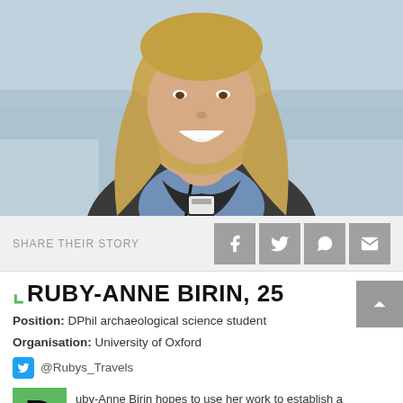[Figure (photo): Portrait photo of Ruby-Anne Birin, a young woman with long blonde hair, smiling, wearing a blue top and dark jacket with a lanyard]
SHARE THEIR STORY
RUBY-ANNE BIRIN, 25
Position: DPhil archaeological science student
Organisation: University of Oxford
@Rubys_Travels
uby-Anne Birin hopes to use her work to establish a meaningful dialogue in modern people's lives. The